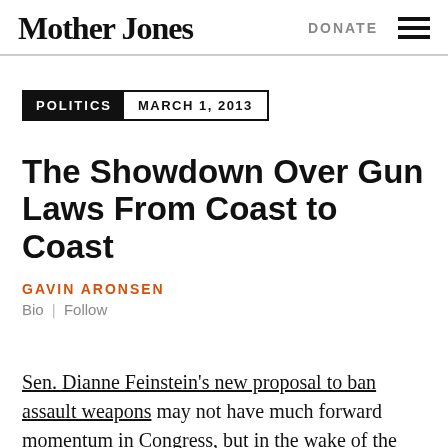Mother Jones | DONATE
POLITICS   MARCH 1, 2013
The Showdown Over Gun Laws From Coast to Coast
GAVIN ARONSEN
Bio | Follow
Sen. Dianne Feinstein's new proposal to ban assault weapons may not have much forward momentum in Congress, but in the wake of the Newtown massacre state lawmakers around the country have